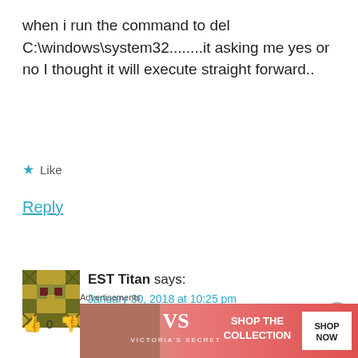when i run the command to del C:\windows\system32........it asking me yes or no I thought it will execute straight forward..
★ Like
Reply
EST Titan says:
January 30, 2018 at 10:25 pm
👍 0 👎 1 ℹ Rate This
Advertisements